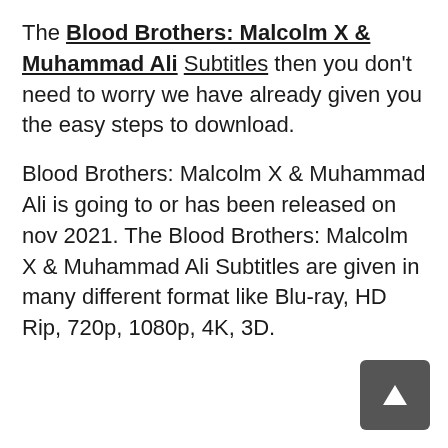The Blood Brothers: Malcolm X & Muhammad Ali Subtitles then you don't need to worry we have already given you the easy steps to download.
Blood Brothers: Malcolm X & Muhammad Ali is going to or has been released on nov 2021. The Blood Brothers: Malcolm X & Muhammad Ali Subtitles are given in many different format like Blu-ray, HD Rip, 720p, 1080p, 4K, 3D.